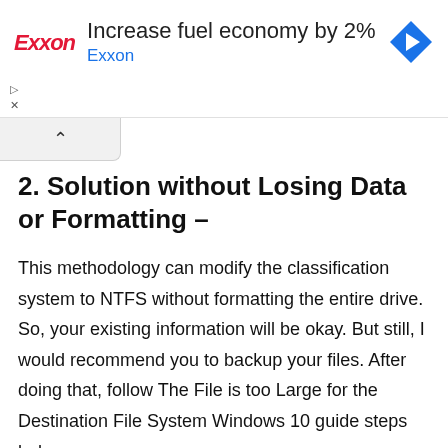[Figure (infographic): Exxon advertisement banner: Exxon logo in red italic on left, headline 'Increase fuel economy by 2%' in dark text, subtext 'Exxon' in blue, blue navigation arrow diamond icon on right. Play and close controls at bottom left.]
2. Solution without Losing Data or Formatting –
This methodology can modify the classification system to NTFS without formatting the entire drive. So, your existing information will be okay. But still, I would recommend you to backup your files. After doing that, follow The File is too Large for the Destination File System Windows 10 guide steps below.